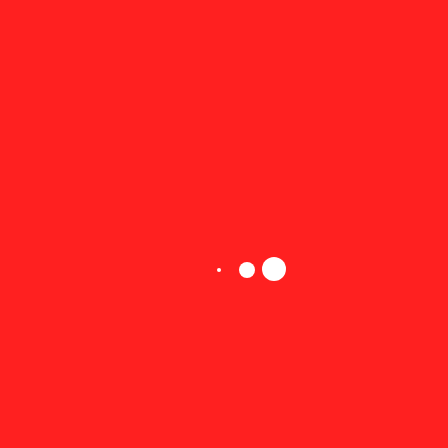[Figure (other): Solid red background with three white dots near the center: one very small dot on the left, one medium dot in the middle, and one larger dot on the right.]